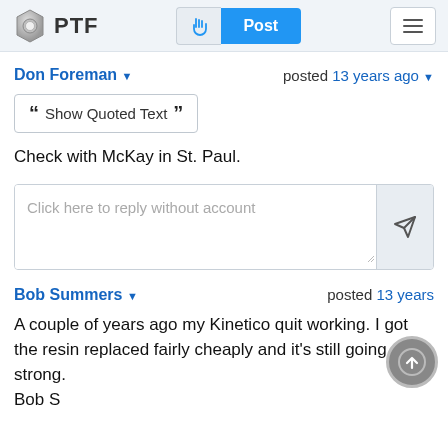PTF | Post
Don Foreman posted 13 years ago
Show Quoted Text
Check with McKay in St. Paul.
Click here to reply without account
Bob Summers posted 13 years ago
A couple of years ago my Kinetico quit working. I got the resin replaced fairly cheaply and it's still going strong.
Bob S